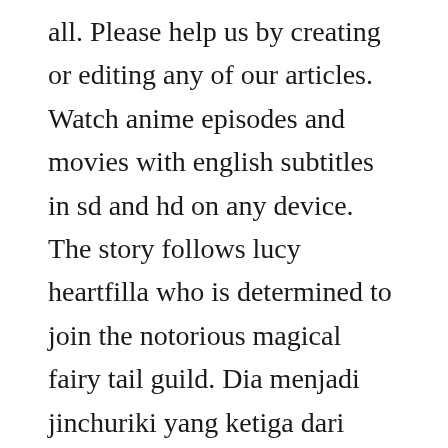all. Please help us by creating or editing any of our articles. Watch anime episodes and movies with english subtitles in sd and hd on any device. The story follows lucy heartfilla who is determined to join the notorious magical fairy tail guild. Dia menjadi jinchuriki yang ketiga dari kurama pada hari kelahirannya, nasib. Fairy tail is stationed in the town magnolia, residing in the kingdom of fiore, and is currently governed by makarov, guilds master. Access our huge library of subs and dubs, featuring a deep catalog of big hits, fan favorites and. Naruto next generations